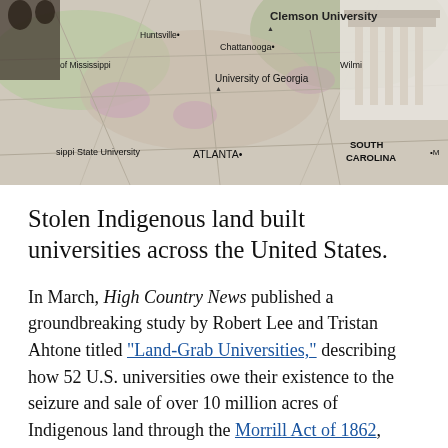[Figure (map): A map showing universities across the southeastern United States, with labels for cities and universities including Chattanooga, Clemson University, Huntsville, University of Georgia, Mississippi State University, ATLANTA, SOUTH CAROLINA, Wilmington.]
Stolen Indigenous land built universities across the United States.
In March, High Country News published a groundbreaking study by Robert Lee and Tristan Ahtone titled "Land-Grab Universities," describing how 52 U.S. universities owe their existence to the seizure and sale of over 10 million acres of Indigenous land through the Morrill Act of 1862, signed by U.S. President Abraham Lincoln, which granted federally controlled land to the states for them to sell in order to fund educational...